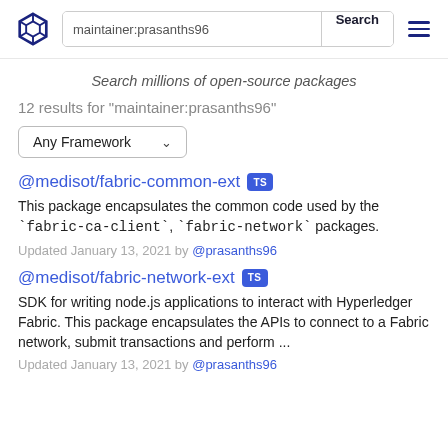maintainer:prasanths96 [Search] [menu]
Search millions of open-source packages
12 results for "maintainer:prasanths96"
Any Framework
@medisot/fabric-common-ext TS
This package encapsulates the common code used by the `fabric-ca-client`, `fabric-network` packages.
Updated January 13, 2021 by @prasanths96
@medisot/fabric-network-ext TS
SDK for writing node.js applications to interact with Hyperledger Fabric. This package encapsulates the APIs to connect to a Fabric network, submit transactions and perform ...
Updated January 13, 2021 by @prasanths96